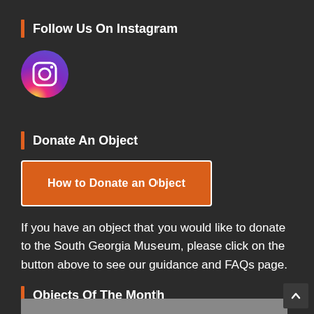Follow Us On Instagram
[Figure (logo): Instagram logo — circular gradient icon with camera symbol]
Donate An Object
[Figure (other): Orange button with white border labeled 'How to Donate an Object']
If you have an object that you would like to donate to the South Georgia Museum, please click on the button above to see our guidance and FAQs page.
Objects Of The Month
[Figure (photo): Partial grey image at the bottom of the page, cropped]